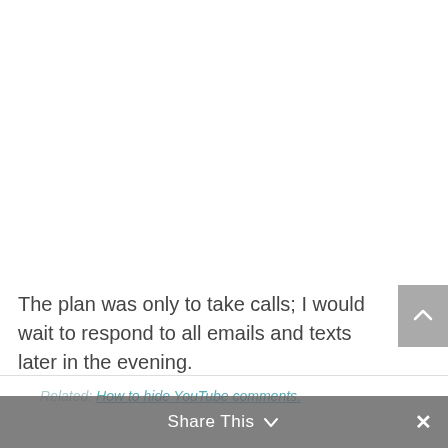The plan was only to take calls; I would wait to respond to all emails and texts later in the evening.
Related: How to hide YouTube comments.
Share This ∨  ×